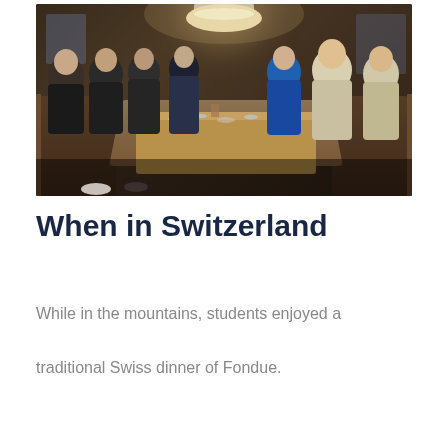[Figure (photo): Group of students sitting around a wooden dining table in a warm, cozy restaurant interior with dark wood paneling and a hanging lamp. Students are seated on booth-style benches on both sides of the table, which has plates, glasses, and drinks on it. Students appear to be enjoying a meal together.]
When in Switzerland
While in the mountains, students enjoyed a traditional Swiss dinner of Fondue.